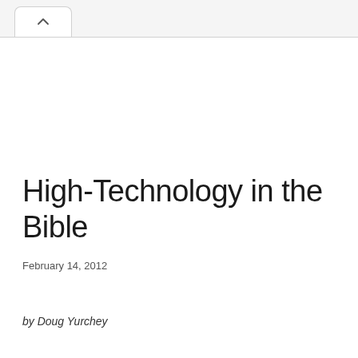High-Technology in the Bible
February 14, 2012
by Doug Yurchey